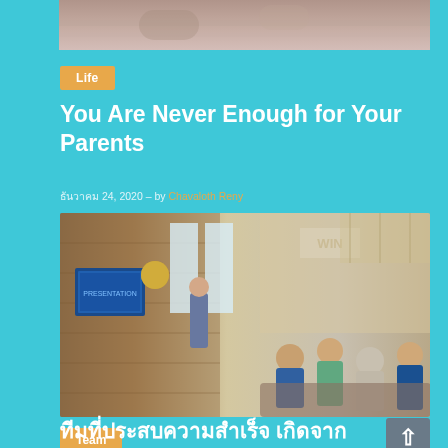[Figure (photo): Top portion of a photograph showing fabric or bedding texture, cropped]
Life
You Are Never Enough for Your Parents
ธันวาคม 24, 2020 – by Chavaloth Reny
[Figure (photo): A man presenting/speaking to a group of people in a modern brick-walled office space with a WIN sign on the wall and a TV screen showing a presentation]
Team
ทีมที่ประสบความสำเร็จ เกิดจาก